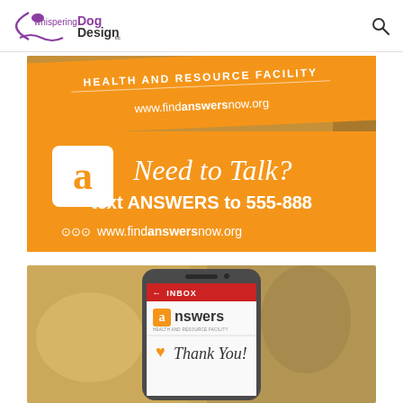[Figure (logo): Whispering Dog Design LLC logo with purple and black text and curved underline graphic]
[Figure (photo): Orange promotional materials for Answers Health and Resource Facility showing banners with 'Need to Talk? text ANSWERS to 555-888' and www.findanswersnow.org]
[Figure (photo): Smartphone showing Answers Health and Resource Facility inbox screen with orange logo and Thank You message on blurred background]